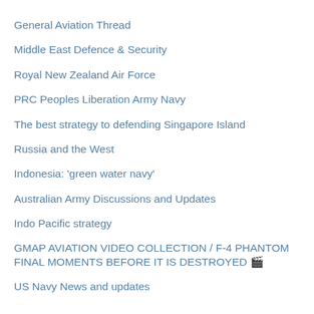General Aviation Thread
Middle East Defence & Security
Royal New Zealand Air Force
PRC Peoples Liberation Army Navy
The best strategy to defending Singapore Island
Russia and the West
Indonesia: 'green water navy'
Australian Army Discussions and Updates
Indo Pacific strategy
GMAP AVIATION VIDEO COLLECTION / F-4 PHANTOM FINAL MOMENTS BEFORE IT IS DESTROYED 🎬
US Navy News and updates